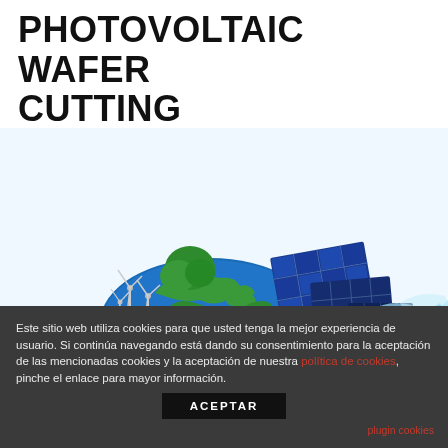PHOTOVOLTAIC WAFER CUTTING
[Figure (illustration): An illustration of Earth globe half-submerged in water with solar panels, green trees, and wind turbines on top, representing renewable energy and photovoltaic technology.]
Este sitio web utiliza cookies para que usted tenga la mejor experiencia de usuario. Si continúa navegando está dando su consentimiento para la aceptación de las mencionadas cookies y la aceptación de nuestra política de cookies, pinche el enlace para mayor información.
ACEPTAR
plugin cookies